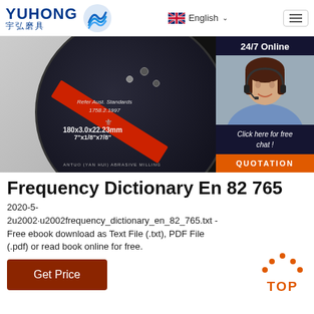YUHONG 宇弘磨具 | English
[Figure (photo): Close-up of a black grinding/cutting disc with red stripe, labeled 180x3.0x22.23mm 7"x1/8"x7/8", with text Refer Aust. Standards 1758.2.1997. Right side shows a customer service agent with headset and '24/7 Online' badge above, 'Click here for free chat!' text, and an orange QUOTATION button.]
Frequency Dictionary En 82 765
2020-5-2u2002·u2002frequency_dictionary_en_82_765.txt - Free ebook download as Text File (.txt), PDF File (.pdf) or read book online for free.
Get Price
[Figure (other): Orange TOP button with dots above the text arranged in an arc]